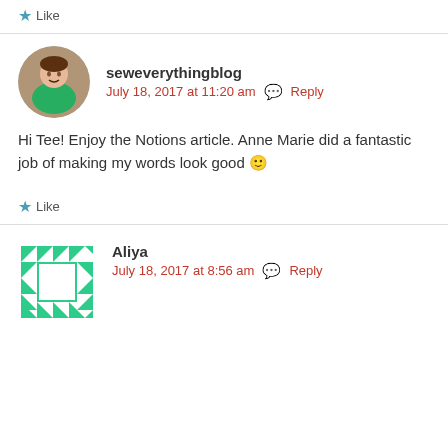Like
seweverythingblog
July 18, 2017 at 11:20 am  Reply
Hi Tee! Enjoy the Notions article. Anne Marie did a fantastic job of making my words look good 🙂
Like
Aliya
July 18, 2017 at 8:56 am  Reply